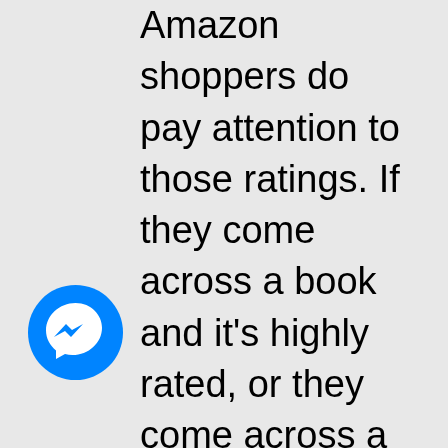Amazon shoppers do pay attention to those ratings. If they come across a book and it's highly rated, or they come across a book that doesn't have any ratings, they're always going to opt for the one that had the ratings. They're just not going to pay that much and spend that much time reading the description to
[Figure (logo): Facebook Messenger circular blue icon with white lightning bolt/chat symbol]